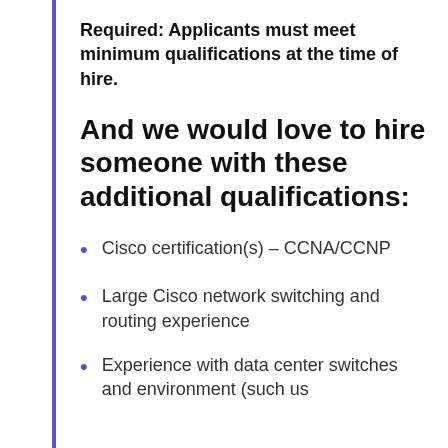Required: Applicants must meet minimum qualifications at the time of hire.
And we would love to hire someone with these additional qualifications:
Cisco certification(s) – CCNA/CCNP
Large Cisco network switching and routing experience
Experience with data center switches and environment (such us